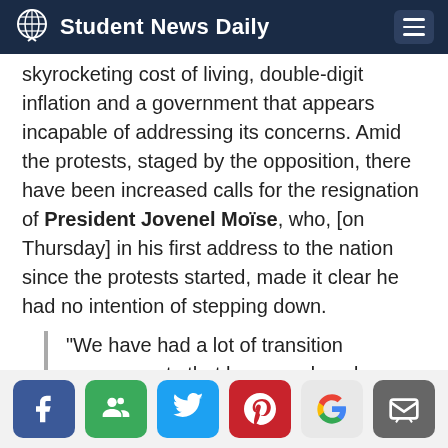Student News Daily
skyrocketing cost of living, double-digit inflation and a government that appears incapable of addressing its concerns. Amid the protests, staged by the opposition, there have been increased calls for the resignation of President Jovenel Moïse, who, [on Thursday] in his first address to the nation since the protests started, made it clear he had no intention of stepping down.
“We have had a lot of transition governments that have produced nothing but catastrophe and disorder, that didn’t…
Social share buttons: Facebook, Friends, Twitter, Pinterest, Google, Email